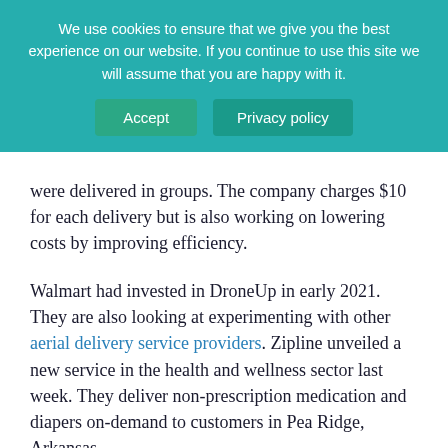[Figure (screenshot): Cookie consent banner overlay with teal/green background. Text reads: 'We use cookies to ensure that we give you the best experience on our website. If you continue to use this site we will assume that you are happy with it.' Two buttons: 'Accept' and 'Privacy policy'.]
were delivered in groups. The company charges $10 for each delivery but is also working on lowering costs by improving efficiency.
Walmart had invested in DroneUp in early 2021. They are also looking at experimenting with other aerial delivery service providers. Zipline unveiled a new service in the health and wellness sector last week. They deliver non-prescription medication and diapers on-demand to customers in Pea Ridge, Arkansas.
Last year, Walmart had teamed up with an Israeli Startup to deliver via drones' household and grocery items from its North Carolina store in Fayetteville.